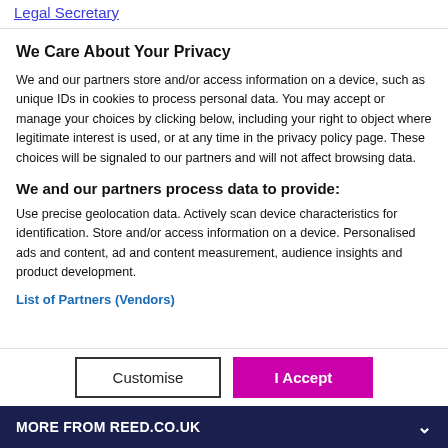Legal Secretary
We Care About Your Privacy
We and our partners store and/or access information on a device, such as unique IDs in cookies to process personal data. You may accept or manage your choices by clicking below, including your right to object where legitimate interest is used, or at any time in the privacy policy page. These choices will be signaled to our partners and will not affect browsing data.
We and our partners process data to provide:
Use precise geolocation data. Actively scan device characteristics for identification. Store and/or access information on a device. Personalised ads and content, ad and content measurement, audience insights and product development.
List of Partners (Vendors)
MORE FROM REED.CO.UK